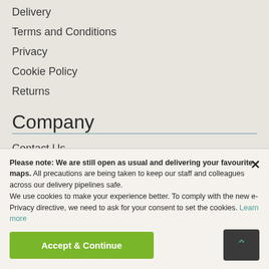Delivery
Terms and Conditions
Privacy
Cookie Policy
Returns
Company
Contact Us
About Us
Trade
Please note: We are still open as usual and delivering your favourite maps. All precautions are being taken to keep our staff and colleagues across our delivery pipelines safe. We use cookies to make your experience better. To comply with the new e-Privacy directive, we need to ask for your consent to set the cookies. Learn more
Accept & Continue